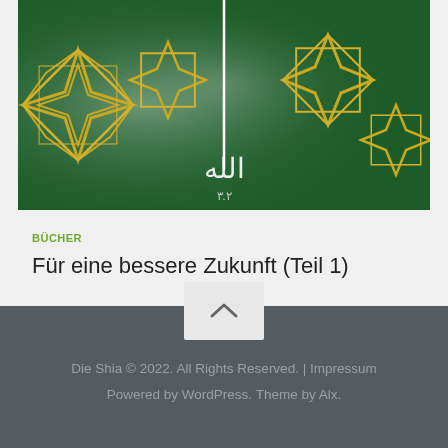[Figure (illustration): Book cover image with dark green background and yellow geometric star/octagon patterns, with white Arabic calligraphy text in the center]
BÜCHER
Für eine bessere Zukunft (Teil 1)
Die Shia © 2022. All Rights Reserved. | Impressum Powered by WordPress. Theme by Alx.